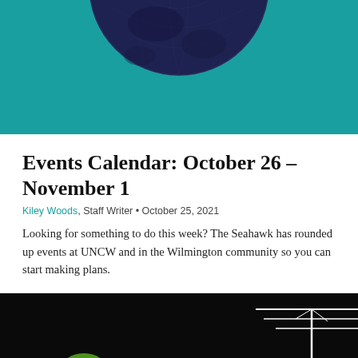[Figure (illustration): Top portion of a stylized globe/sphere in dark navy blue on a teal/turquoise background]
Events Calendar: October 26 – November 1
Kiley Woods, Staff Writer • October 25, 2021
Looking for something to do this week? The Seahawk has rounded up events at UNCW and in the Wilmington community so you can start making plans.
[Figure (photo): Dark/black background with white antenna or street sign structure on the right side, and a small green glowing object at bottom left]